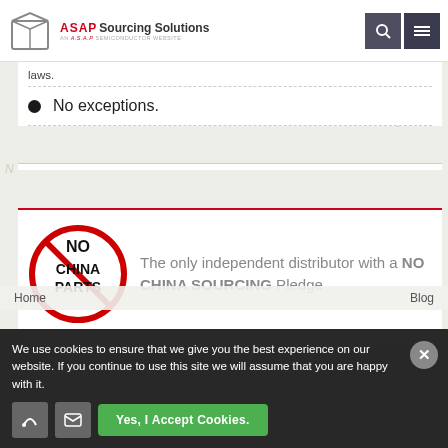ASAP Sourcing Solutions — AN A.S.A.P SEMICONDUCTOR WEBSITE
laws.
No exceptions.
[Figure (logo): No China Parts circular logo with red prohibition circle and text NO CHINA PARTS]
The only independent distributor with a NO CHINA SOURCING Pledge
Home | Blog | Contact Us | Privacy Policy
We use cookies to ensure that we give you the best experience on our website. If you continue to use this site we will assume that you are happy with it.
Yes, I Accept Cookies.